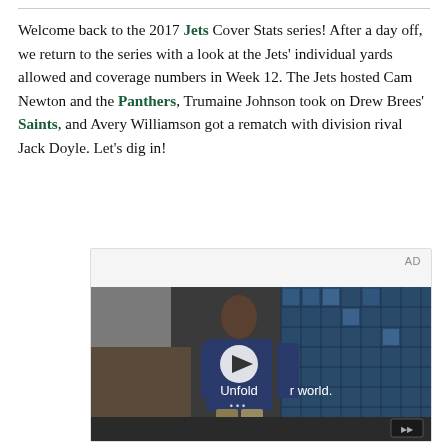Welcome back to the 2017 Jets Cover Stats series! After a day off, we return to the series with a look at the Jets' individual yards allowed and coverage numbers in Week 12. The Jets hosted Cam Newton and the Panthers, Trumaine Johnson took on Drew Brees' Saints, and Avery Williamson got a rematch with division rival Jack Doyle. Let's dig in!
[Figure (screenshot): An embedded video advertisement showing a young man in a denim jacket standing in a store with blue glass block walls. A play button overlay is visible in the center. Text reads 'Unfold your world.' An 'AD' label appears in the top right corner.]